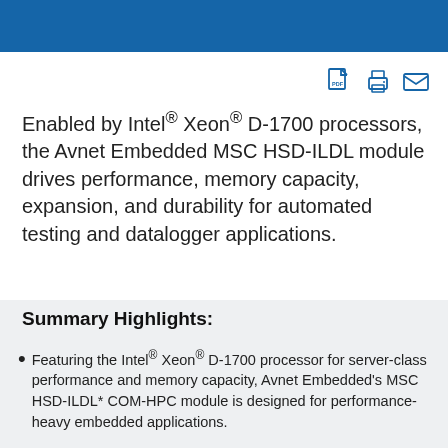[Figure (other): Blue header bar at the top of the page]
[Figure (infographic): Row of three blue icons: PDF document, printer, and envelope/email]
Enabled by Intel® Xeon® D-1700 processors, the Avnet Embedded MSC HSD-ILDL module drives performance, memory capacity, expansion, and durability for automated testing and datalogger applications.
Summary Highlights:
Featuring the Intel® Xeon® D-1700 processor for server-class performance and memory capacity, Avnet Embedded's MSC HSD-ILDL* COM-HPC module is designed for performance-heavy embedded applications.